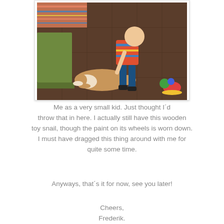[Figure (photo): A young toddler with a shaved head wearing a colorful striped shirt bends down toward a brown and white dog lying on a tiled outdoor surface. A wooden bench is visible on the left. A colorful toy snail is visible on the right side of the floor.]
Me as a very small kid. Just thought I´d throw that in here. I actually still have this wooden toy snail, though the paint on its wheels is worn down. I must have dragged this thing around with me for quite some time.
Anyways, that´s it for now, see you later!
Cheers,
Frederik.